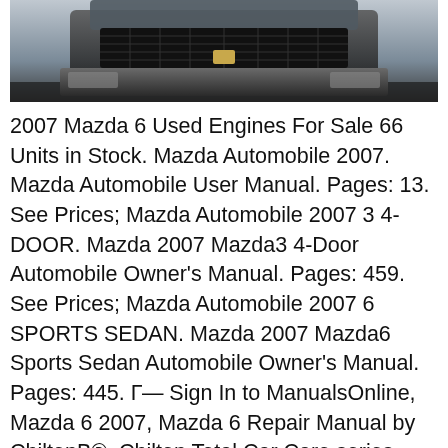[Figure (photo): Front view of a dark-colored Mazda vehicle, cropped showing front grille and bumper area against a dark background]
2007 Mazda 6 Used Engines For Sale 66 Units in Stock. Mazda Automobile 2007. Mazda Automobile User Manual. Pages: 13. See Prices; Mazda Automobile 2007 3 4-DOOR. Mazda 2007 Mazda3 4-Door Automobile Owner's Manual. Pages: 459. See Prices; Mazda Automobile 2007 6 SPORTS SEDAN. Mazda 2007 Mazda6 Sports Sedan Automobile Owner's Manual. Pages: 445. Г— Sign In to ManualsOnline, Mazda 6 2007, Mazda 6 Repair Manual by ChiltonB®. Chilton Total Car Care series offers do-it-yourselfers of all levels TOTAL maintenance, service and repair